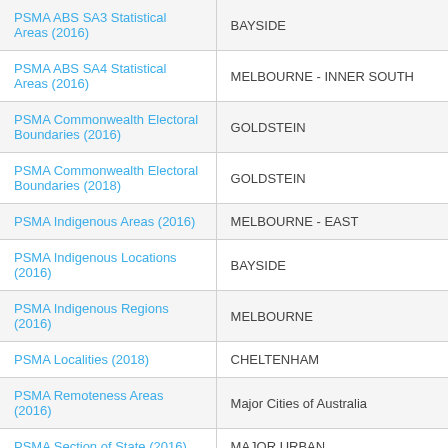| Layer | Value |
| --- | --- |
| PSMA ABS SA3 Statistical Areas (2016) | BAYSIDE |
| PSMA ABS SA4 Statistical Areas (2016) | MELBOURNE - INNER SOUTH |
| PSMA Commonwealth Electoral Boundaries (2016) | GOLDSTEIN |
| PSMA Commonwealth Electoral Boundaries (2018) | GOLDSTEIN |
| PSMA Indigenous Areas (2016) | MELBOURNE - EAST |
| PSMA Indigenous Locations (2016) | BAYSIDE |
| PSMA Indigenous Regions (2016) | MELBOURNE |
| PSMA Localities (2018) | CHELTENHAM |
| PSMA Remoteness Areas (2016) | Major Cities of Australia |
| PSMA Section of State (2016) | MAJOR URBAN |
| PSMA Section of State Ranges... | MAJOR URBAN... |